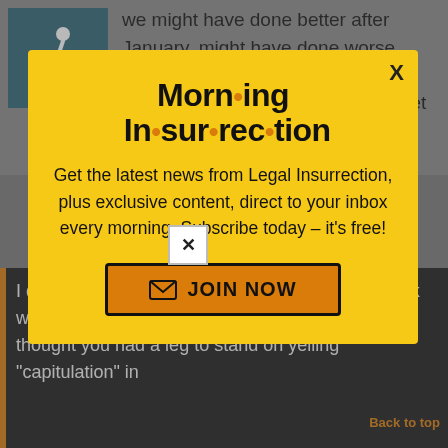[Figure (logo): Wheelchair accessibility icon in teal/dark cyan square]
we might have done better after January, might have done worse. 9/11 first responders-was going to get done and Coburn held out to get a better bill.
[Figure (infographic): Modal popup with yellow background. Title: 'Morning Insurrection' with orange dots between syllables. Body text: 'Get the latest news from Legal Insurrection, plus exclusive content, direct to your inbox every morning. Subscribe today – it's free!' with an orange JOIN NOW button and close X button.]
I don't think the cessions of the Lame Duck were all that terrible – and by extension I never thought you had a leg to stand on yelling "capitulation" in